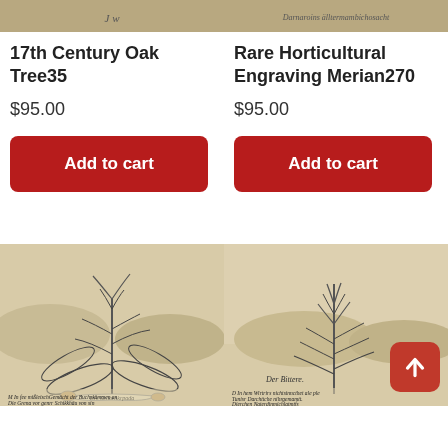[Figure (photo): Top-cropped antique botanical engraving, left product]
17th Century Oak Tree35
$95.00
Add to cart
[Figure (photo): Top-cropped antique botanical engraving with German text, right product]
Rare Horticultural Engraving Merian270
$95.00
Add to cart
[Figure (photo): Antique botanical engraving showing a tall plant with German text below, lower-left product]
[Figure (photo): Antique botanical engraving showing a plant labeled Der Bittere with German text below, lower-right product]